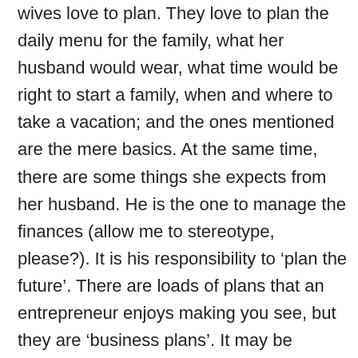wives love to plan. They love to plan the daily menu for the family, what her husband would wear, what time would be right to start a family, when and where to take a vacation; and the ones mentioned are the mere basics. At the same time, there are some things she expects from her husband. He is the one to manage the finances (allow me to stereotype, please?). It is his responsibility to ‘plan the future’. There are loads of plans that an entrepreneur enjoys making you see, but they are ‘business plans’. It may be somewhat irksome to them to set in stone what is to happen 20 years from now. Why? Because an entrepreneur indulges himself in a lot of ‘live by the day’. Or, moment; for that matter. Each of them want to live in an adrenaline-rushed state! He doesn’t want